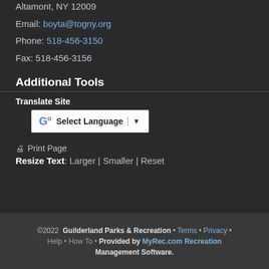Altamont, NY 12009
Email: boyta@togny.org
Phone: 518-456-3150
Fax: 518-456-3156
Additional Tools
Translate Site
[Figure (other): Google Translate widget showing 'Select Language' dropdown with Google G logo and dropdown arrow]
Print Page
Resize Text: Larger | Smaller | Reset
©2022 Guilderland Parks & Recreation • Terms • Privacy • Help • How To • Provided by MyRec.com Recreation Management Software.